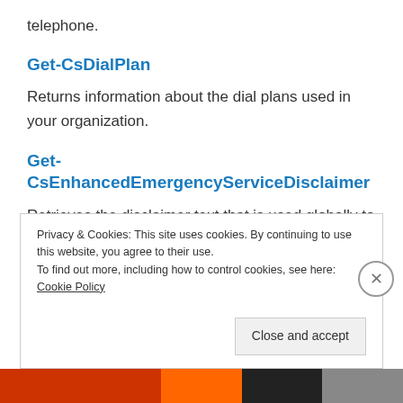telephone.
Get-CsDialPlan
Returns information about the dial plans used in your organization.
Get-CsEnhancedEmergencyServiceDisclaimer
Retrieves the disclaimer text that is used globally to prompt for location information for an Enhanced 9-1-1 (E9-1-1) implementation.
Privacy & Cookies: This site uses cookies. By continuing to use this website, you agree to their use.
To find out more, including how to control cookies, see here: Cookie Policy
Close and accept